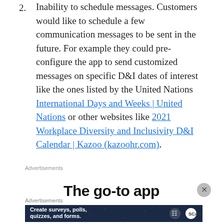2. Inability to schedule messages. Customers would like to schedule a few communication messages to be sent in the future. For example they could pre-configure the app to send customized messages on specific D&I dates of interest like the ones listed by the United Nations International Days and Weeks | United Nations or other websites like 2021 Workplace Diversity and Inclusivity D&I Calendar | Kazoo (kazoohr.com).
Advertisements
[Figure (other): Advertisement banner showing 'The go-to app' text with a close button (X)]
Advertisements
[Figure (other): Advertisement banner: 'Create surveys, polls, quizzes, and forms.' with WordPress and scan logos on dark blue starry background]